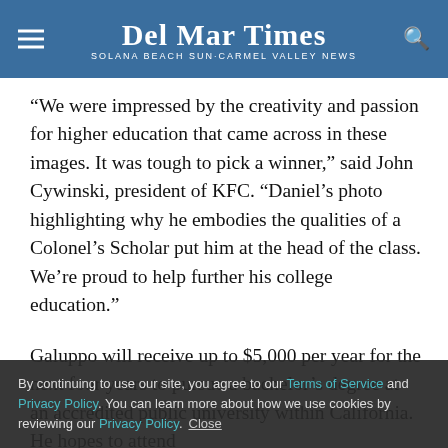Del Mar Times — Solana Beach Sun-Carmel Valley News
“We were impressed by the creativity and passion for higher education that came across in these images. It was tough to pick a winner,” said John Cywinski, president of KFC. “Daniel’s photo highlighting why he embodies the qualities of a Colonel’s Scholar put him at the head of the class. We’re proud to help further his college education.”
Galuppo will receive up to $5,000 per year for the next four years to pursue a bachelor’s degree at an accredited public university within California. He hopes to attend
By continuing to use our site, you agree to our Terms of Service and Privacy Policy. You can learn more about how we use cookies by reviewing our Privacy Policy. Close